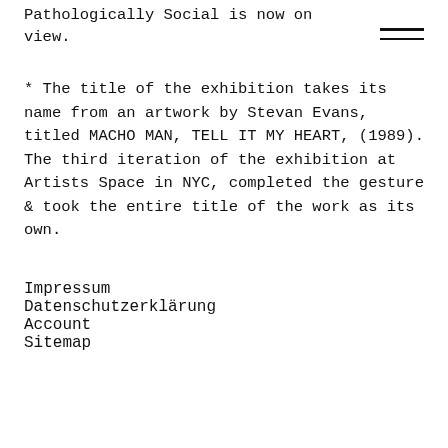Pathologically Social is now on view.
* The title of the exhibition takes its name from an artwork by Stevan Evans, titled MACHO MAN, TELL IT MY HEART, (1989). The third iteration of the exhibition at Artists Space in NYC, completed the gesture & took the entire title of the work as its own.
Impressum
Datenschutzerklärung
Account
Sitemap